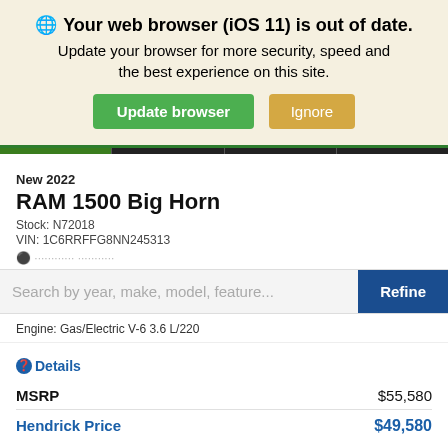Your web browser (iOS 11) is out of date. Update your browser for more security, speed and the best experience on this site. Update browser | Ignore
New 2022
RAM 1500 Big Horn
Stock: N72018
VIN: 1C6RRFFG8NN245313
Search by year, make, model, feature...
Engine: Gas/Electric V-6 3.6 L/220
Details
|  |  |
| --- | --- |
| MSRP | $55,580 |
| Hendrick Price | $49,580 |
Call Now